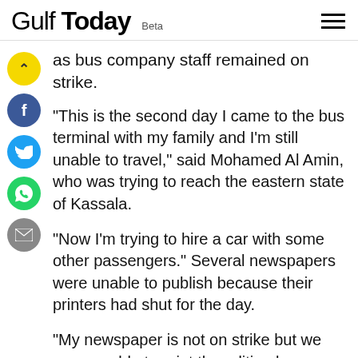Gulf Today Beta
as bus company staff remained on strike.
“This is the second day I came to the bus terminal with my family and I’m still unable to travel,” said Mohamed Al Amin, who was trying to reach the eastern state of Kassala.
“Now I’m trying to hire a car with some other passengers.” Several newspapers were unable to publish because their printers had shut for the day.
“My newspaper is not on strike but we were unable to print the edition because the technicians were on strike,” the owner of Al Miber newspaper, Al-Hindi Ezzeddine, wrote on